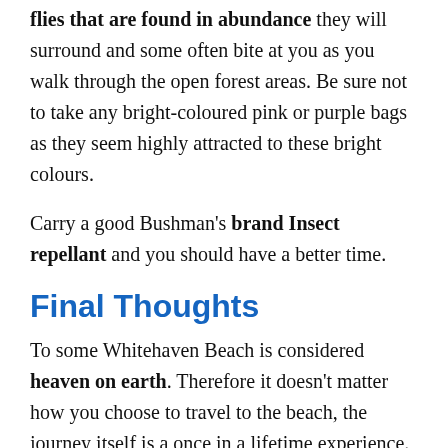flies that are found in abundance they will surround and some often bite at you as you walk through the open forest areas. Be sure not to take any bright-coloured pink or purple bags as they seem highly attracted to these bright colours.
Carry a good Bushman's brand Insect repellant and you should have a better time.
Final Thoughts
To some Whitehaven Beach is considered heaven on earth. Therefore it doesn't matter how you choose to travel to the beach, the journey itself is a once in a lifetime experience.
It was also once thought to have the Whitest Sand In